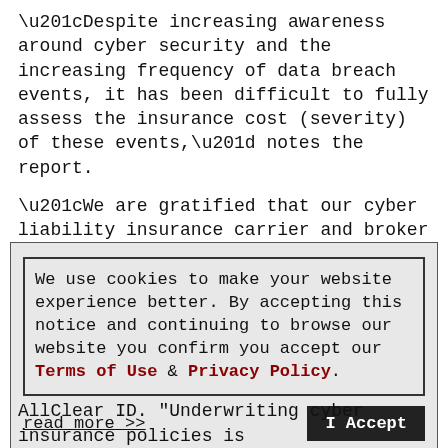“Despite increasing awareness around cyber security and the increasing frequency of data breach events, it has been difficult to fully assess the insurance cost (severity) of these events,” notes the report.
“We are gratified that our cyber liability insurance carrier and broker partners continue to share some of their loss data with NetDiligence,” Mark Greisiger, president of NetDiligence, says in a company statement. “Without them, the valuable insights this
We use cookies to make your website experience better. By accepting this notice and continuing to browse our website you confirm you accept our Terms of Use & Privacy Policy.
read more >>
I Accept
AllClear ID. “Underwriting cyber insurance policies is